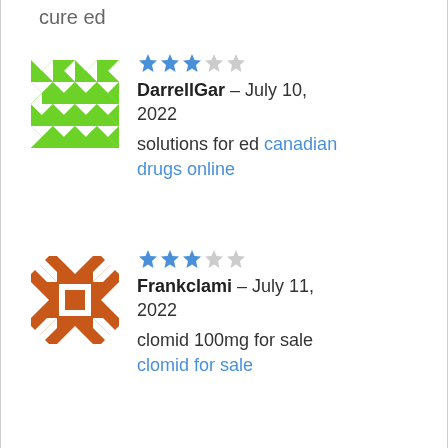cure ed
[Figure (illustration): Green geometric avatar with diamond/triangle mosaic pattern]
★★★☆☆ DarrellGar – July 10, 2022
solutions for ed canadian drugs online
[Figure (illustration): Orange/brown geometric avatar with diamond/square mosaic pattern]
★★★☆☆ Frankclami – July 11, 2022
clomid 100mg for sale clomid for sale